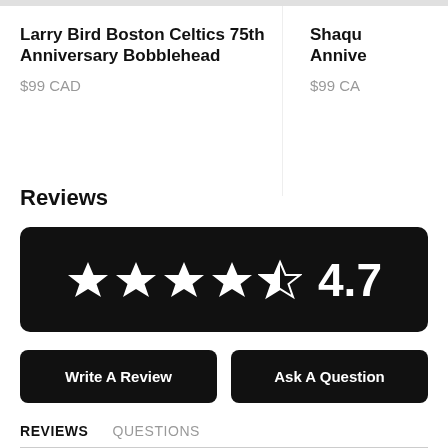Larry Bird Boston Celtics 75th Anniversary Bobblehead
$99 CAD
Shaq... Annive...
$99 CA...
Reviews
[Figure (other): Black rounded rectangle showing 4.5 star rating (4 filled stars and 1 half star) and numeric score 4.7 in white on black background]
Write A Review
Ask A Question
REVIEWS   QUESTIONS